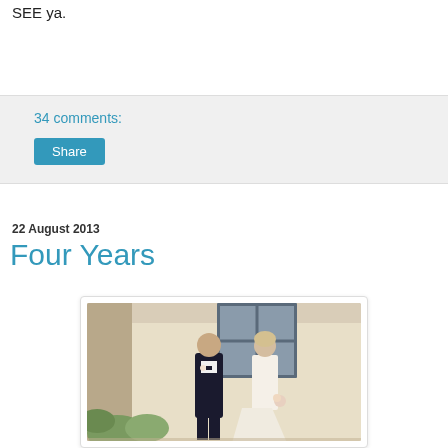SEE ya.
34 comments:
Share
22 August 2013
Four Years
[Figure (photo): Wedding photo of a groom in black tuxedo and bride in white gown standing apart against a cream wall with a window, potted plants in foreground]